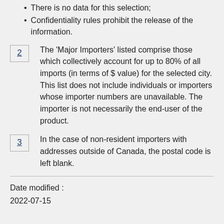There is no data for this selection;
Confidentiality rules prohibit the release of the information.
2  The 'Major Importers' listed comprise those which collectively account for up to 80% of all imports (in terms of $ value) for the selected city. This list does not include individuals or importers whose importer numbers are unavailable. The importer is not necessarily the end-user of the product.
3  In the case of non-resident importers with addresses outside of Canada, the postal code is left blank.
Date modified :
2022-07-15